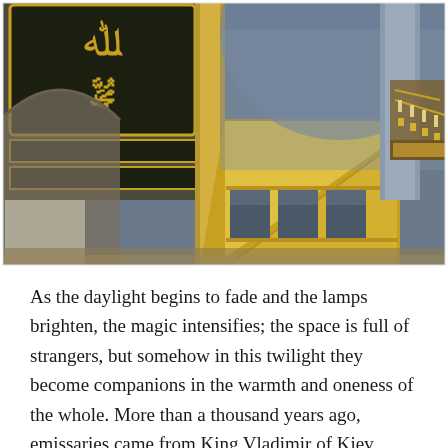[Figure (photo): Interior photograph of Hagia Sophia showing golden Arabic calligraphy medallions on the walls, a golden minbar (pulpit) with arched openings and a diagonal staircase railing, blue-grey stone arches and dome in the background, and an ornate chandelier on the right side.]
As the daylight begins to fade and the lamps brighten, the magic intensifies; the space is full of strangers, but somehow in this twilight they become companions in the warmth and oneness of the whole. More than a thousand years ago, emissaries came from King Vladimir of Kiev,